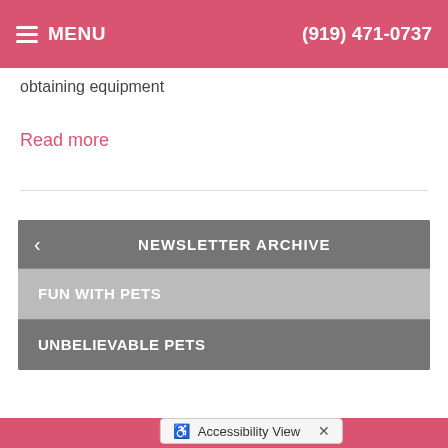MENU  (919) 471-0737
obtaining equipment
Read more
[Figure (screenshot): Newsletter archive widget showing two items: FUN WITH PETS (light gray highlighted row) and UNBELIEVABLE PETS (dark gray row), with a back arrow and NEWSLETTER ARCHIVE header]
Accessibility View  X